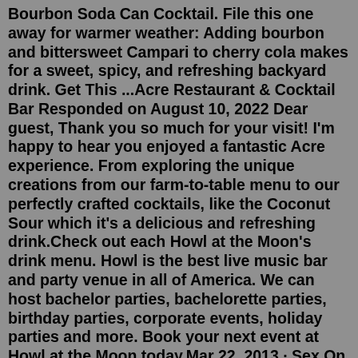Bourbon Soda Can Cocktail. File this one away for warmer weather: Adding bourbon and bittersweet Campari to cherry cola makes for a sweet, spicy, and refreshing backyard drink. Get This ...Acre Restaurant & Cocktail Bar Responded on August 10, 2022 Dear guest, Thank you so much for your visit! I'm happy to hear you enjoyed a fantastic Acre experience. From exploring the unique creations from our farm-to-table menu to our perfectly crafted cocktails, like the Coconut Sour which it's a delicious and refreshing drink.Check out each Howl at the Moon's drink menu. Howl is the best live music bar and party venue in all of America. We can host bachelor parties, bachelorette parties, birthday parties, corporate events, holiday parties and more. Book your next event at Howl at the Moon today.Mar 22, 2013 · Sex On The Chisel Beach. Those who have read On Chisel Beach by Ian McEwan know that sex on Chisel Beach is nonexistent. This cocktail is 2 ounces vodka, ½ ounce peach schnapps, 2 ounces cranberry juice, and 2 ounces orange juice... but go